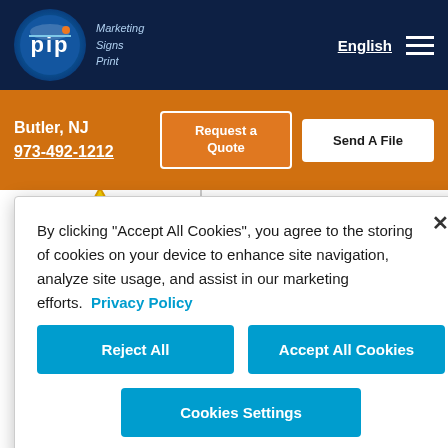PIP Marketing Signs Print | English | Menu
Butler, NJ
973-492-1212
Request a Quote | Send A File
[Figure (screenshot): Warning sign with yellow triangle and lightning bolt symbol, next to text 'Hazardous voltage']
By clicking “Accept All Cookies”, you agree to the storing of cookies on your device to enhance site navigation, analyze site usage, and assist in our marketing efforts. Privacy Policy
Reject All | Accept All Cookies | Cookies Settings